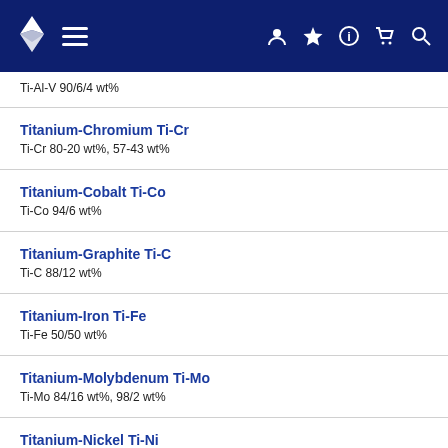Navigation bar with logo, hamburger menu, user, star, info, cart, search icons
Ti-Al-V 90/6/4 wt%
Titanium-Chromium Ti-Cr
Ti-Cr 80-20 wt%, 57-43 wt%
Titanium-Cobalt Ti-Co
Ti-Co 94/6 wt%
Titanium-Graphite Ti-C
Ti-C 88/12 wt%
Titanium-Iron Ti-Fe
Ti-Fe 50/50 wt%
Titanium-Molybdenum Ti-Mo
Ti-Mo 84/16 wt%, 98/2 wt%
Titanium-Nickel Ti-Ni
Ti-Ni 70/30 wt%
Titanium-Nickel-Aluminium Ti-Ni-Al
Ti-Ni-Al 40/50/10 wt%